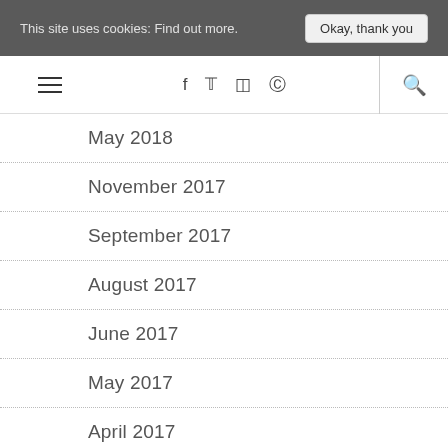This site uses cookies: Find out more.   Okay, thank you
[Figure (screenshot): Navigation bar with hamburger menu, social icons (f, twitter, instagram, pinterest), and search icon]
May 2018
November 2017
September 2017
August 2017
June 2017
May 2017
April 2017
March 2017
February 2017
January 2017